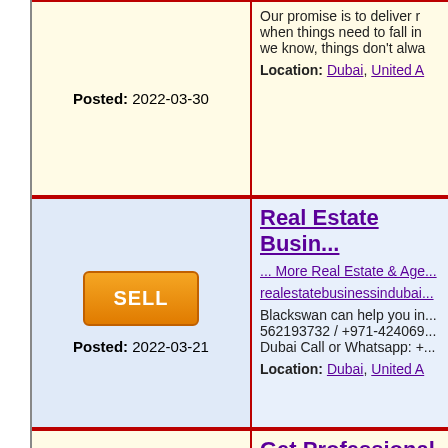Posted: 2022-03-30 | Our promise is to deliver results when things need to fall in place, we know, things don't alwa... | Location: Dubai, United A...
Real Estate Busin... | SELL | Posted: 2022-03-21 | ... More Real Estate & Age... realestatebusinessindubai... | Blackswan can help you in... 562193732 / +971-424069... Dubai Call or Whatsapp: +... | Location: Dubai, United A...
Get Professional A... | SELL | Posted: 2022-03-17 | ... More Other Ads - busin... | Blackswan can help you in... WhatsApp: +971 56 219 3... and Trading License in Du... | Location: Dubai, United A...